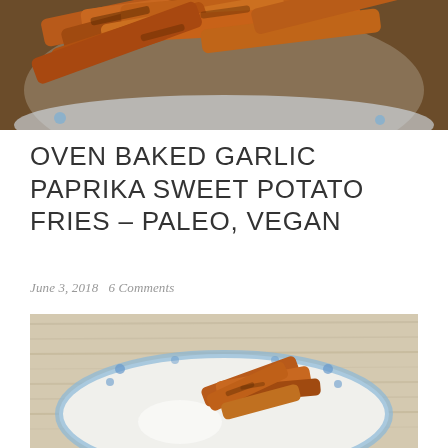[Figure (photo): Close-up of oven baked sweet potato fries on a blue floral plate, viewed from above, dark orange color]
OVEN BAKED GARLIC PAPRIKA SWEET POTATO FRIES – PALEO, VEGAN
June 3, 2018   6 Comments
[Figure (photo): Overhead view of baked sweet potato fries on a blue floral plate with white dipping sauce on a light wood background]